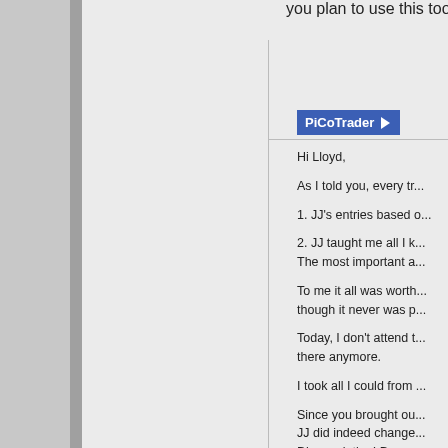you plan to use this tool in y...
PiCoTrader ▶
Hi Lloyd,

As I told you, every tr...

1. JJ's entries based o...

2. JJ taught me all I k...
The most important a...

To me it all was worth...
though it never was p...

Today, I don't attend t...
there anymore.

I took all I could from ...

Since you brought ou...
JJ did indeed change...
Disappointing! Does n...

You actually may be a...